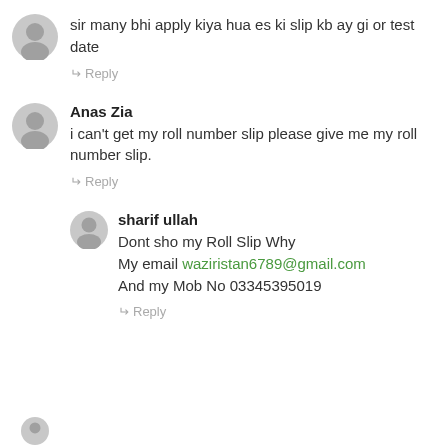sir many bhi apply kiya hua es ki slip kb ay gi or test date
↵ Reply
Anas Zia
i can't get my roll number slip please give me my roll number slip.
↵ Reply
sharif ullah
Dont sho my Roll Slip Why
My email waziristan6789@gmail.com
And my Mob No 03345395019
↵ Reply